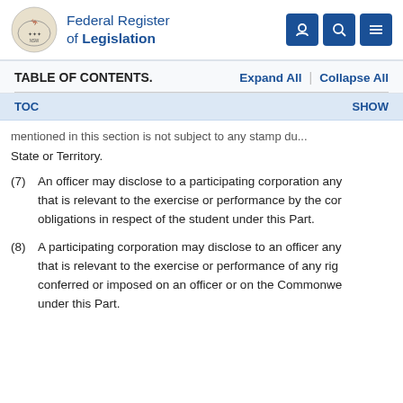Federal Register of Legislation
TABLE OF CONTENTS.    Expand All  |  Collapse All
TOC    SHOW
mentioned in this section is not subject to any stamp ... State or Territory.
(7)  An officer may disclose to a participating corporation any that is relevant to the exercise or performance by the cor obligations in respect of the student under this Part.
(8)  A participating corporation may disclose to an officer any that is relevant to the exercise or performance of any rig conferred or imposed on an officer or on the Commonwe under this Part.